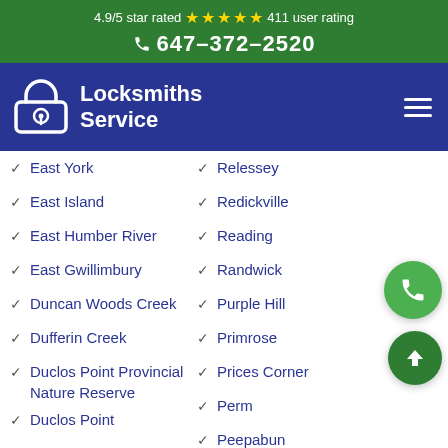4.9/5 star rated ★★★★★ 411 user rating
☎ 647-372-2520
[Figure (logo): Locksmiths Service logo with padlock icon on dark blue navigation bar]
East York
Relessey
East Island
Redickville
East Humber River
Reading
East Gwillimbury
Randwick
Duncan Woods Creek
Purple Hill
Dufferin Creek
Primrose
Duclos Point Provincial Nature Reserve
Prices Corner
Duclos Point
Perm
Downsview
Peepabun
Don Vale
Orton
Orangeville